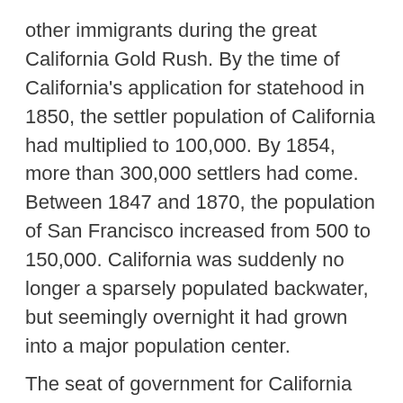other immigrants during the great California Gold Rush. By the time of California's application for statehood in 1850, the settler population of California had multiplied to 100,000. By 1854, more than 300,000 settlers had come. Between 1847 and 1870, the population of San Francisco increased from 500 to 150,000. California was suddenly no longer a sparsely populated backwater, but seemingly overnight it had grown into a major population center.
The seat of government for California under Spanish and later Mexican rule had been located in Monterey from 1777 until 1845. Pio Pico, the last Mexican governor of Alta